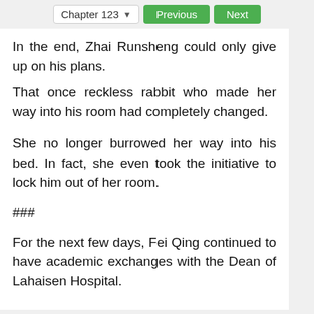Chapter 123  Previous  Next
In the end, Zhai Runsheng could only give up on his plans.
That once reckless rabbit who made her way into his room had completely changed.
She no longer burrowed her way into his bed. In fact, she even took the initiative to lock him out of her room.
###
For the next few days, Fei Qing continued to have academic exchanges with the Dean of Lahaisen Hospital.